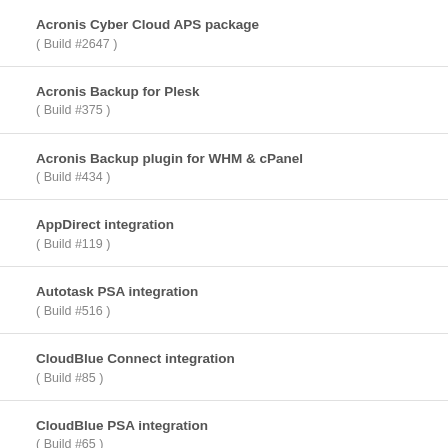Acronis Cyber Cloud APS package
( Build #2647 )
Acronis Backup for Plesk
( Build #375 )
Acronis Backup plugin for WHM & cPanel
( Build #434 )
AppDirect integration
( Build #119 )
Autotask PSA integration
( Build #516 )
CloudBlue Connect integration
( Build #85 )
CloudBlue PSA integration
( Build #65 )